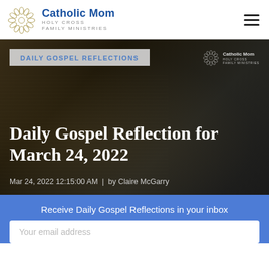Catholic Mom — Holy Cross Family Ministries
[Figure (screenshot): Hero image with dark book/bible background, 'DAILY GOSPEL REFLECTIONS' tag, Catholic Mom watermark logo top right, large white serif title text 'Daily Gospel Reflection for March 24, 2022', and metadata line 'Mar 24, 2022 12:15:00 AM | by Claire McGarry']
Receive Daily Gospel Reflections in your inbox
Your email address